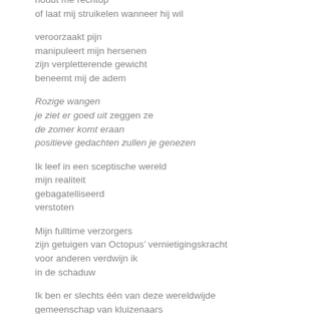houdt me rechtop
of laat mij struikelen wanneer hij wil
veroorzaakt pijn
manipuleert mijn hersenen
zijn verpletterende gewicht
beneemt mij de adem
Rozige wangen
je ziet er goed uit zeggen ze
de zomer komt eraan
positieve gedachten zullen je genezen
Ik leef in een sceptische wereld
mijn realiteit
gebagatelliseerd
verstoten
Mijn fulltime verzorgers
zijn getuigen van Octopus’ vernietigingskracht
voor anderen verdwijn ik
in de schaduw
Ik ben er slechts één van deze wereldwijde
gemeenschap van kluizenaars